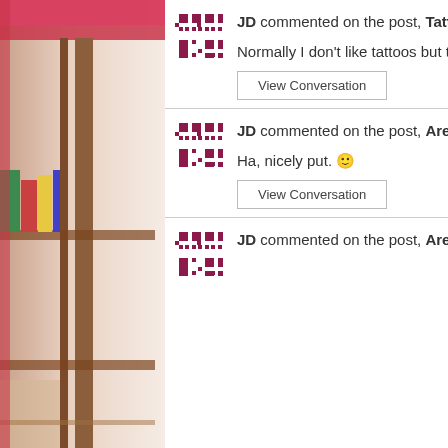JD commented on the post, Tattoo for Vux? feedback requested! 6 years ago
Normally I don't like tattoos but this looks good. I voted yes. 🙂
View Conversation
JD commented on the post, Are you ok with Remi? Feedback requested 6 years ago
Ha, nicely put. 🙂
View Conversation
JD commented on the post, Are you